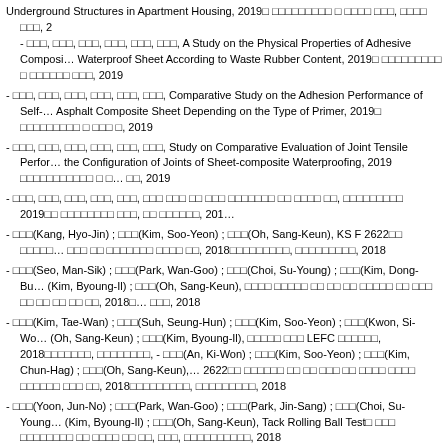Underground Structures in Apartment Housing, 2019 ... - ..., ..., ..., ..., ..., ..., A Study on the Physical Properties of Adhesive Composite Waterproof Sheet According to Waste Rubber Content, 2019 ... 2019
..., ..., ..., ..., ..., ..., Comparative Study on the Adhesion Performance of Self-Asphalt Composite Sheet Depending on the Type of Primer, 2019 ... 0, 2019
..., ..., ..., ..., ..., ..., Study on Comparative Evaluation of Joint Tensile Performance the Configuration of Joints of Sheet-composite Waterproofing, 2019 ... 00, 2019
..., ..., ..., ..., ..., ... 2019 ... 201
강효진(Kang, Hyo-Jin) ; 김수연(Kim, Soo-Yeon) ; 오상근(Oh, Sang-Keun), KS F 2622 ... 2018
서만식(Seo, Man-Sik) ; 박완구(Park, Wan-Goo) ; 최수영(Choi, Su-Young) ; 김동부(Kim, Dong-Bu) ; 김병일(Kim, Byoung-Il) ; 오상근(Oh, Sang-Keun), ... 2018
김태완(Kim, Tae-Wan) ; 서승훈(Suh, Seung-Hun) ; 김수연(Kim, Soo-Yeon) ; 권시원(Kwon, Si-Wo) ; 오상근(Oh, Sang-Keun) ; 김병일(Kim, Byoung-Il), ... LEFC ..., 2018
안기원(An, Ki-Won) ; 김수연(Kim, Soo-Yeon) ; 김춘학(Kim, Chun-Hag) ; 오상근(Oh, Sang-Keun), 2622 ... 2018
윤준노(Yoon, Jun-No) ; 박완구(Park, Wan-Goo) ; 박진상(Park, Jin-Sang) ; 최수영(Choi, Su-Young) ; 김병일(Kim, Byoung-Il) ; 오상근(Oh, Sang-Keun), Tack Rolling Ball Test ... 2018
최은규(Choi, Eun-Gyu) ; 서현재(Seo, Hyun-Jae) ; 이정훈(Lee, Jung-Hun) ; 이선규(Lee, Sun-Gyu) ; 송제영(Song, Je-Young) ; 오상근(Oh, Sang-Keun), ... (00 000),